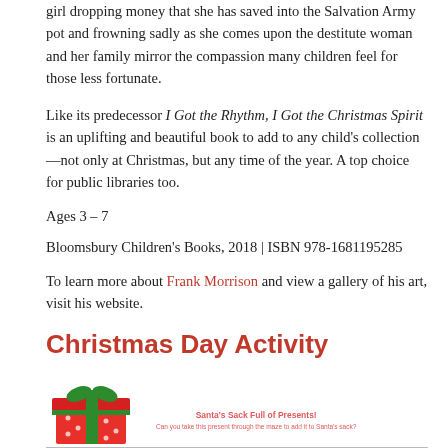girl dropping money that she has saved into the Salvation Army pot and frowning sadly as she comes upon the destitute woman and her family mirror the compassion many children feel for those less fortunate.
Like its predecessor I Got the Rhythm, I Got the Christmas Spirit is an uplifting and beautiful book to add to any child’s collection—not only at Christmas, but any time of the year. A top choice for public libraries too.
Ages 3 – 7
Bloomsbury Children's Books, 2018 | ISBN 978-1681195285
To learn more about Frank Morrison and view a gallery of his art, visit his website.
Christmas Day Activity
[Figure (illustration): A red gift box with green ribbon and bow on the left, and text reading Santa's Sack Full of Presents! Can you take this present through the maze to add it to Santa's sack? on the right. A horizontal line runs below.]